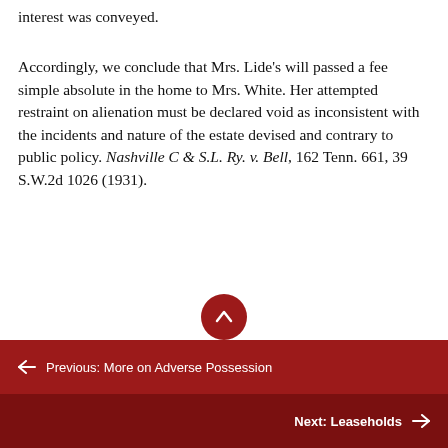interest was conveyed.
Accordingly, we conclude that Mrs. Lide's will passed a fee simple absolute in the home to Mrs. White. Her attempted restraint on alienation must be declared void as inconsistent with the incidents and nature of the estate devised and contrary to public policy. Nashville C & S.L. Ry. v. Bell, 162 Tenn. 661, 39 S.W.2d 1026 (1931).
[Figure (other): Red circular button with upward arrow (scroll to top)]
← Previous: More on Adverse Possession
Next: Leaseholds →